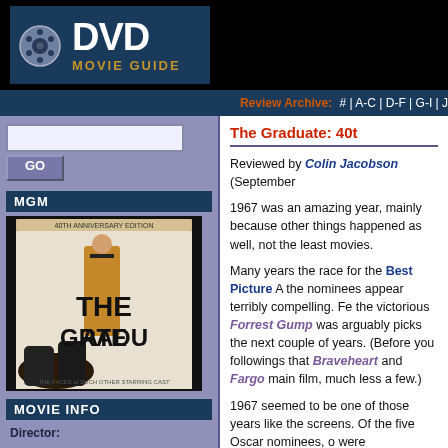[Figure (logo): DVD Movie Guide logo with film reel icon, white DVD text, gold MOVIE GUIDE text on dark blue background]
Review Archive: # | A-C | D-F | G-I | J
[Figure (screenshot): Search input box and GO button on purple/blue background]
MGM
[Figure (photo): The Graduate 40th Anniversary Edition DVD cover showing man in suit and woman's legs in stockings]
MOVIE INFO
Director:
The Graduate: 40t
Reviewed by Colin Jacobson (September
1967 was an amazing year, mainly because other things happened as well, not the least movies.
Many years the race for the Best Picture A the nominees appear terribly compelling. Fe the victorious Forrest Gump was arguably picks the next couple of years. (Before you followings that Braveheart and Fargo main film, much less a few.)
1967 seemed to be one of those years like the screens. Of the five Oscar nominees, o were tremendously solid films. While I won of the Night as the winner, I do feel that it p and almost certainly most influential and em Graduate.